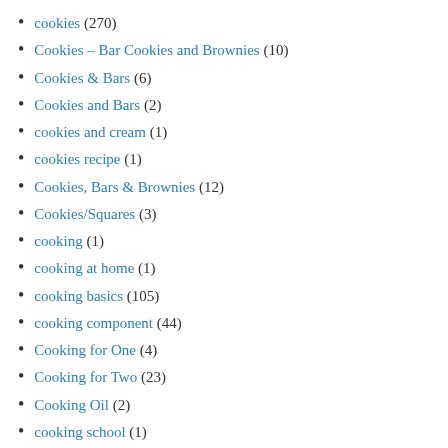cookies (270)
Cookies – Bar Cookies and Brownies (10)
Cookies & Bars (6)
Cookies and Bars (2)
cookies and cream (1)
cookies recipe (1)
Cookies, Bars & Brownies (12)
Cookies/Squares (3)
cooking (1)
cooking at home (1)
cooking basics (105)
cooking component (44)
Cooking for One (4)
Cooking for Two (23)
Cooking Oil (2)
cooking school (1)